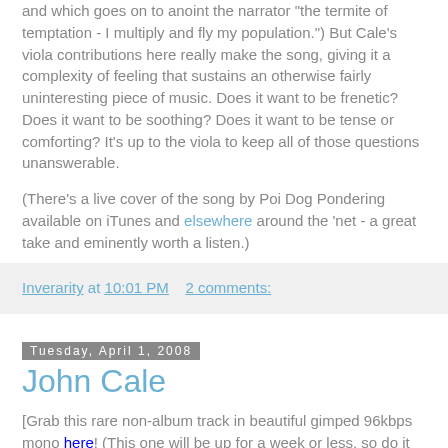and which goes on to anoint the narrator "the termite of temptation - I multiply and fly my population.") But Cale's viola contributions here really make the song, giving it a complexity of feeling that sustains an otherwise fairly uninteresting piece of music. Does it want to be frenetic? Does it want to be soothing? Does it want to be tense or comforting? It's up to the viola to keep all of those questions unanswerable.
(There's a live cover of the song by Poi Dog Pondering available on iTunes and elsewhere around the 'net - a great take and eminently worth a listen.)
Inverarity at 10:01 PM    2 comments:
Tuesday, April 1, 2008
John Cale
[Grab this rare non-album track in beautiful gimped 96kbps mono here! (This one will be up for a week or less, so do it